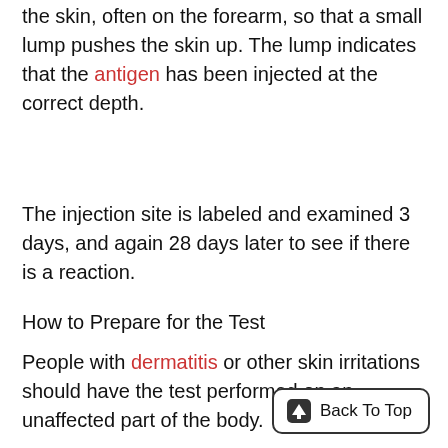the skin, often on the forearm, so that a small lump pushes the skin up. The lump indicates that the antigen has been injected at the correct depth.
The injection site is labeled and examined 3 days, and again 28 days later to see if there is a reaction.
How to Prepare for the Test
People with dermatitis or other skin irritations should have the test performed on an unaffected part of the body.